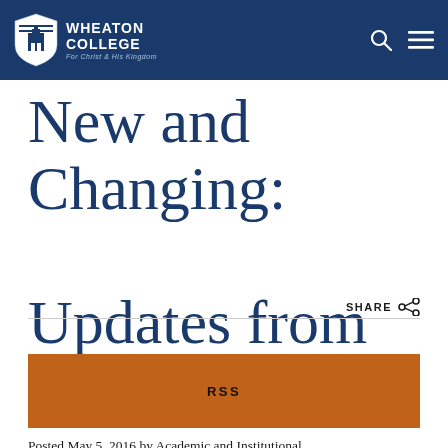Wheaton College — For Christ and His Kingdom
New and Changing: Updates from AIT
SHARE
[Figure (other): RSS subscription button in orange]
Posted May 5, 2016 by Academic and Institutional